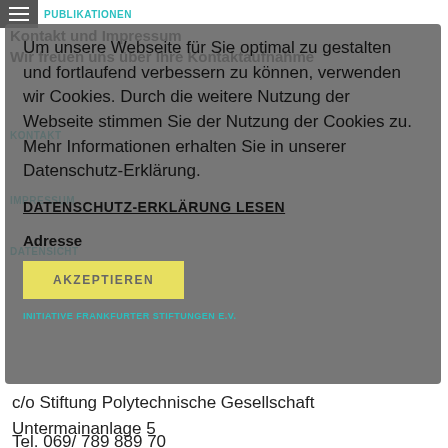PUBLIKATIONEN
Kontakt und Impressum
Wir freuen uns über Ihre Kontaktaufnahme
KONTAKT
IMPRESSUM
DATENSICHT
Um unsere Webseite für Sie optimal zu gestalten und fortlaufend verbessern zu können, verwenden wir Cookies. Durch die weitere Nutzung der Webseite stimmen Sie der Nutzung der Cookies zu. Mehr Informationen erhalten Sie in unserer Datenschutz-Erklärung.
DATENSCHUTZ-ERKLÄRUNG LESEN
Adresse
INITIATIVE FRANKFURTER STIFTUNGEN E.V.
AKZEPTIEREN
c/o Stiftung Polytechnische Gesellschaft
Untermainanlage 5
60329 Frankfurt am Main
Tel. 069/ 789 889 70